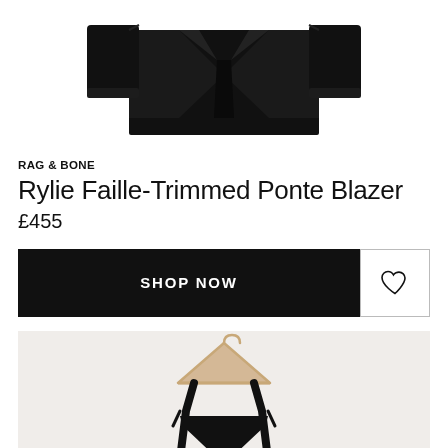[Figure (photo): Black Rag & Bone Rylie Faille-Trimmed Ponte Blazer product photo on white background, showing the blazer laid flat]
RAG & BONE
Rylie Faille-Trimmed Ponte Blazer
£455
[Figure (other): SHOP NOW button in black with white text, and a heart/wishlist icon button with border]
[Figure (photo): Second product photo showing a black garment on a wooden hanger against a light background]